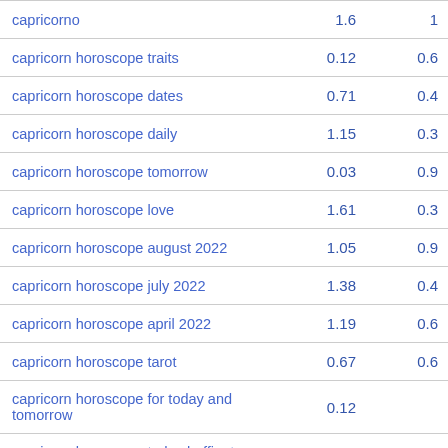| keyword | col1 | col2 |
| --- | --- | --- |
| capricorno | 1.6 | 1 |
| capricorn horoscope traits | 0.12 | 0.6 |
| capricorn horoscope dates | 0.71 | 0.4 |
| capricorn horoscope daily | 1.15 | 0.3 |
| capricorn horoscope tomorrow | 0.03 | 0.9 |
| capricorn horoscope love | 1.61 | 0.3 |
| capricorn horoscope august 2022 | 1.05 | 0.9 |
| capricorn horoscope july 2022 | 1.38 | 0.4 |
| capricorn horoscope april 2022 | 1.19 | 0.6 |
| capricorn horoscope tarot | 0.67 | 0.6 |
| capricorn horoscope for today and tomorrow | 0.12 |  |
| capricorn horoscope today huffington post | 1.92 | 0.2 |